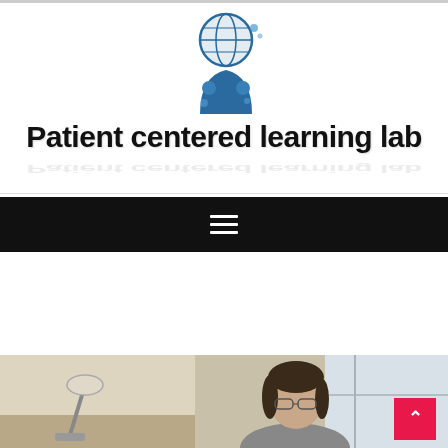[Figure (logo): Globe with person/arch icon – Patient centered learning lab logo]
Patient centered learning lab
[Figure (other): Black navigation bar with hamburger menu icon (three horizontal white lines)]
[Figure (photo): Photo strip showing two images: left image of a desk lamp, right image of a person with glasses looking down, with a pink scroll-to-top button in lower right corner]